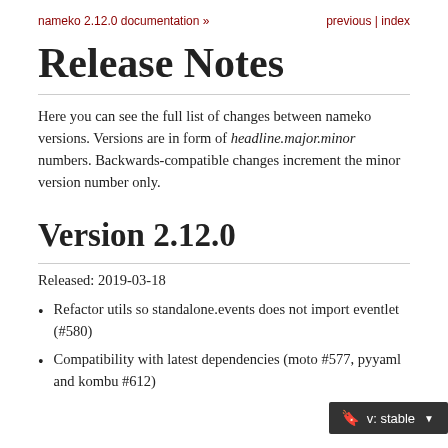nameko 2.12.0 documentation »    previous | index
Release Notes
Here you can see the full list of changes between nameko versions. Versions are in form of headline.major.minor numbers. Backwards-compatible changes increment the minor version number only.
Version 2.12.0
Released: 2019-03-18
Refactor utils so standalone.events does not import eventlet (#580)
Compatibility with latest dependencies (moto #577, pyyaml and kombu #612)